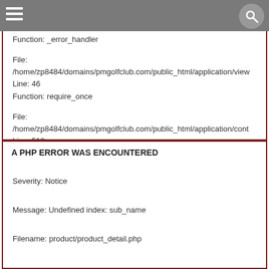Function: _error_handler
File: /home/zp8484/domains/pmgolfclub.com/public_html/application/view
Line: 46
Function: require_once

File: /home/zp8484/domains/pmgolfclub.com/public_html/application/cont
Line: 518
Function: view

File: /home/zp8484/domains/pmgolfclub.com/public_html/index.php
Line: 292
Function: require_once
A PHP ERROR WAS ENCOUNTERED
Severity: Notice

Message: Undefined index: sub_name

Filename: product/product_detail.php